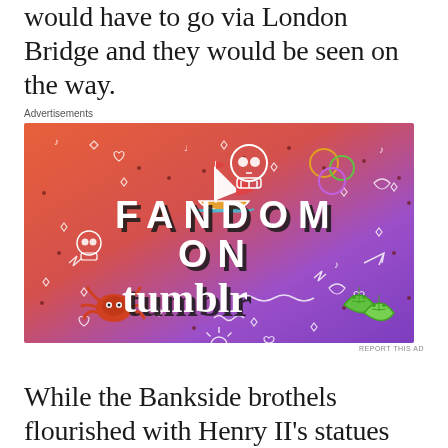would have to go via London Bridge and they would be seen on the way.
[Figure (illustration): Fandom on Tumblr advertisement banner with colorful gradient background (orange to purple) featuring whimsical doodle illustrations of a sailboat, skull, dice, spider, leaves, music notes, arrows, and the text FANDOM ON tumblr]
REPORT THIS AD
While the Bankside brothels flourished with Henry II's statues